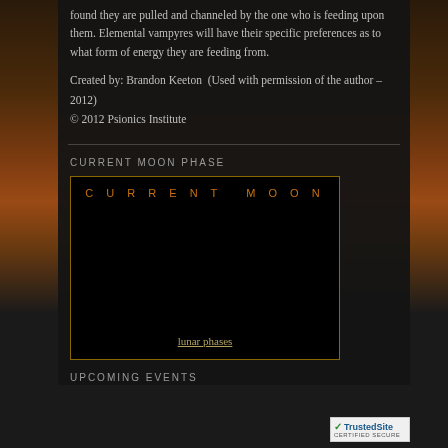found they are pulled and channeled by the one who is feeding upon them. Elemental vampyres will have their specific preferences as to what form of energy they are feeding from.
Created by: Brandon Keeton  (Used with permission of the author – 2012)
© 2012 Psionics Institute
CURRENT MOON PHASE
[Figure (other): Current Moon phase widget with orange text heading 'CURRENT MOON', black image area showing moon phase, and link 'lunar phases']
[Figure (logo): TrustedSite Certified Secure badge with green checkmark]
UPCOMING EVENTS